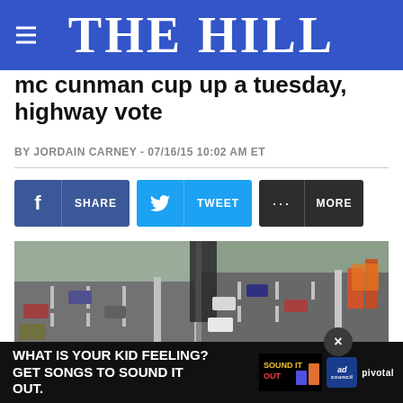THE HILL
mc cunman cup up a tuesday highway vote
BY JORDAIN CARNEY - 07/16/15 10:02 AM ET
[Figure (infographic): Social share buttons: Facebook SHARE, Twitter TWEET, and MORE buttons]
[Figure (photo): Highway construction photo showing a multi-lane highway with construction work, vehicles, and an overpass]
[Figure (infographic): Advertisement overlay: 'WHAT IS YOUR KID FEELING? GET SONGS TO SOUND IT OUT.' with Sound It Out, Ad Council, and Pivotal logos]